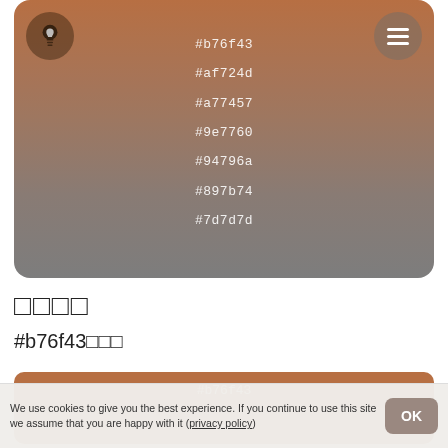[Figure (infographic): Gradient card from brown #b76f43 to gray #7d7d7d with hex color labels and icon buttons]
#b76f43
#af724d
#a77457
#9e7760
#94796a
#897b74
#7d7d7d
□□□□
#b76f43□□□
[Figure (infographic): Color swatches for #b76f43 and #c68660 palette]
#b76f43
#c68660
We use cookies to give you the best experience. If you continue to use this site we assume that you are happy with it (privacy policy)